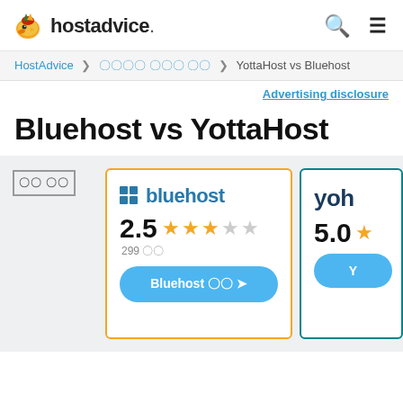hostadvice.
HostAdvice > 웹 호스팅 비교 목록 > YottaHost vs Bluehost
Advertising disclosure
Bluehost vs YottaHost
웹 사이트
[Figure (infographic): Bluehost comparison card with logo, 2.5 star rating (299 reviews), and visit button. Partially visible YottaHost card with 5.0 rating on right.]